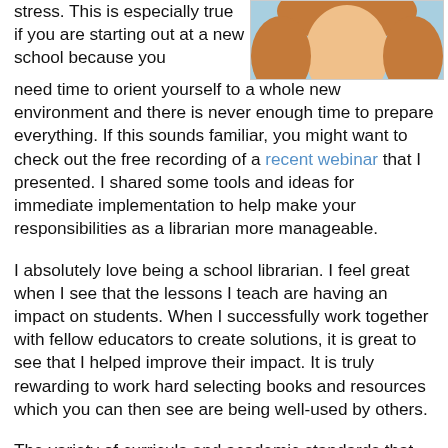[Figure (photo): Photo of a woman with long reddish-blonde hair, cropped to show face and top of shoulders, light blue background behind head.]
stress. This is especially true if you are starting out at a new school because you need time to orient yourself to a whole new environment and there is never enough time to prepare everything. If this sounds familiar, you might want to check out the free recording of a recent webinar that I presented. I shared some tools and ideas for immediate implementation to help make your responsibilities as a librarian more manageable.
I absolutely love being a school librarian. I feel great when I see that the lessons I teach are having an impact on students. When I successfully work together with fellow educators to create solutions, it is great to see that I helped improve their impact. It is truly rewarding to work hard selecting books and resources which you can then see are being well-used by others.
The variety of curricula and academic standards that each environment has is different and these change all the time.